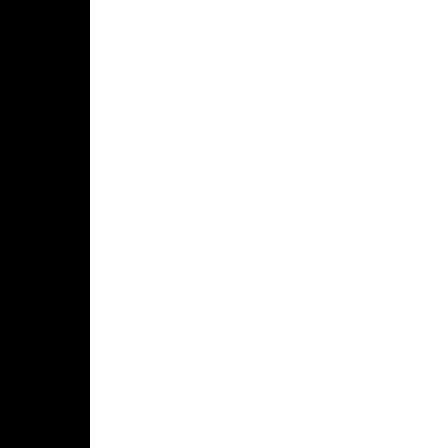With opening day of Maker approaching, Poly is stocking fabrics, colorful notions, an proprietary weave of velvet delivery, it's not quite the b being ninety-percent silk an corpse. Crushed under a do is Phil Girard. His wife, Gene teashop owner and close fri prime suspect.

Granted, Phil may not have husband, but surely Genevi to kill him! There's just the Genevieve's own incriminat afraid I killed my husband. Girl's grand opening looms, the seams—and finding a sm
Posted by F. B. Davis at 11:00 AM